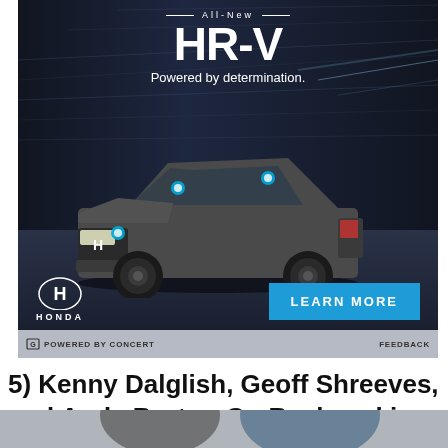[Figure (photo): Honda HR-V advertisement showing a dark grey HR-V SUV driving at night on a highway with motion blur speed lines in the background. Text reads 'All-New HR-V Powered by determination.' with Honda logo and a blue 'LEARN MORE' button. Bottom bar reads 'POWERED BY CONCERT' and 'FEEDBACK'.]
5) Kenny Dalglish, Geoff Shreeves, and Andy Burton Go Backpacking